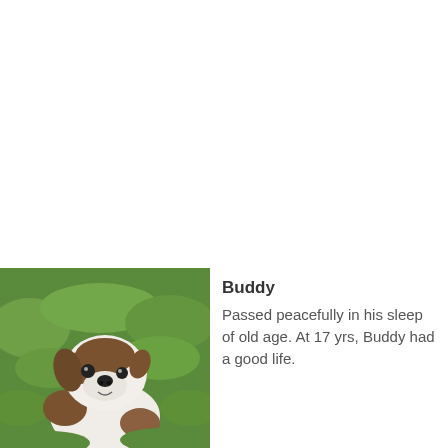[Figure (photo): A small white and brown dog with floppy ears sitting on green grass, looking at camera]
Buddy
Passed peacefully in his sleep of old age. At 17 yrs, Buddy had a good life.